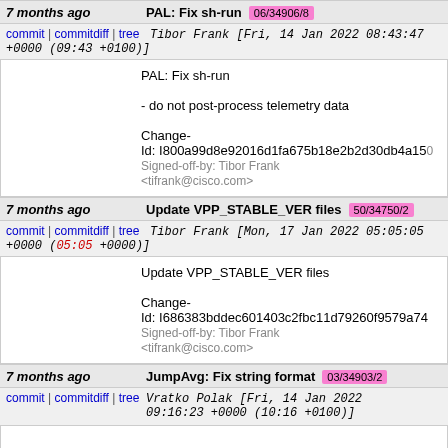7 months ago | PAL: Fix sh-run 06/34906/8
commit | commitdiff | tree   Tibor Frank [Fri, 14 Jan 2022 08:43:47 +0000 (09:43 +0100)]
PAL: Fix sh-run

- do not post-process telemetry data

Change-Id: I800a99d8e92016d1fa675b18e2b2d30db4a15...
Signed-off-by: Tibor Frank <tifrank@cisco.com>
7 months ago | Update VPP_STABLE_VER files 50/34750/2
commit | commitdiff | tree   Tibor Frank [Mon, 17 Jan 2022 05:05:05 +0000 (05:05 +0000)]
Update VPP_STABLE_VER files

Change-Id: I686383bddec601403c2fbc11d79260f9579a74...
Signed-off-by: Tibor Frank <tifrank@cisco.com>
7 months ago | JumpAvg: Fix string format 03/34903/2
commit | commitdiff | tree   Vratko Polak [Fri, 14 Jan 2022 09:16:23 +0000 (10:16 +0100)]